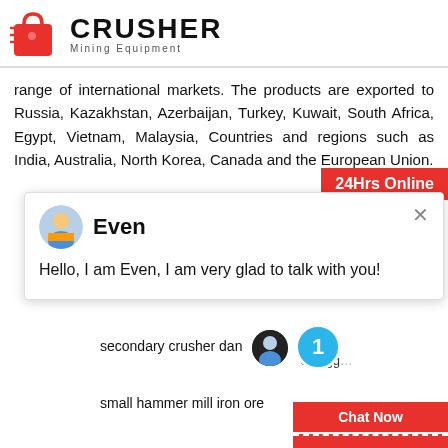[Figure (logo): Crusher Mining Equipment logo with red shopping bag icon and bold text]
range of international markets. The products are exported to Russia, Kazakhstan, Azerbaijan, Turkey, Kuwait, South Africa, Egypt, Vietnam, Malaysia, Countries and regions such as India, Australia, North Korea, Canada and the European Union.
[Figure (screenshot): 24Hrs Online badge in red, chat popup with agent Even saying Hello, I am Even, I am very glad to talk with you!]
secondary crusher dan
small hammer mill iron ore
stone crusher manufacturer in west be
rock stone crushers rock crushing mach
illinois roller screen processing cobbles
[Figure (infographic): Right sidebar with Need & suggestions, notification bubble showing 1, Chat Now button, Enquiry button, limingjlmofen@sina.com contact]